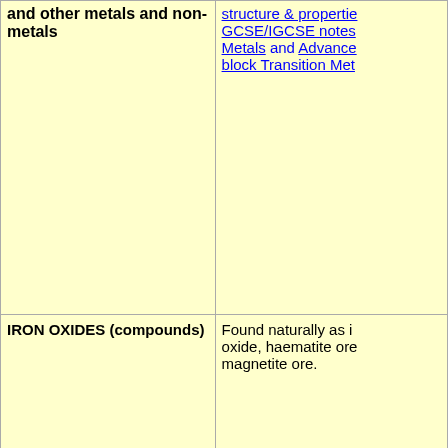| and other metals and non-metals | structure & properties GCSE/IGCSE notes Metals and Advanced block Transition Metals |
| IRON OXIDES (compounds) | Found naturally as iron oxide, haematite ore magnetite ore. |
| J uses of materials - elements, compounds and mixtures |  |
|  |  |
| K uses of materials - elements, compounds and mixtures |  |
| KEVLAR | Kevlar is a very strong, fire resistant polymer, aromatic polyamide, linear polymer chains, strong 2D sheets which adhere to each other at molecular level. It is less dense than metals so higher strength/weight |